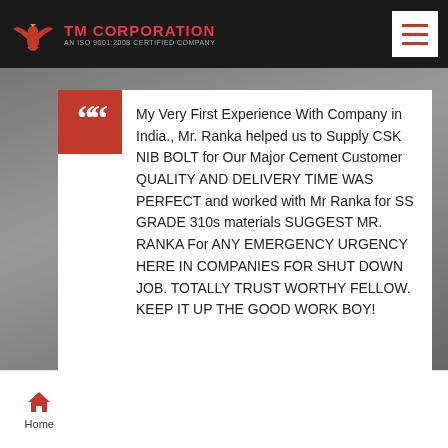TM CORPORATION — AN ISO 9001:2008 CERTIFIED COMPANY
My Very First Experience With Company in India., Mr. Ranka helped us to Supply CSK NIB BOLT for Our Major Cement Customer QUALITY AND DELIVERY TIME WAS PERFECT and worked with Mr Ranka for SS GRADE 310s materials SUGGEST MR. RANKA For ANY EMERGENCY URGENCY HERE IN COMPANIES FOR SHUT DOWN JOB. TOTALLY TRUST WORTHY FELLOW. KEEP IT UP THE GOOD WORK BOY!
Mr. Ahman Aviarman
Home | About Us | Our Range | Contact | Call Us